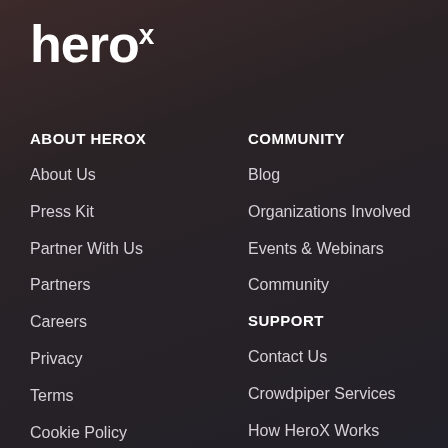heroX
ABOUT HEROX
About Us
Press Kit
Partner With Us
Partners
Careers
Privacy
Terms
Cookie Policy
COMMUNITY
Blog
Organizations Involved
Events & Webinars
Community
SUPPORT
Contact Us
Crowdpiper Services
How HeroX Works
Pricing